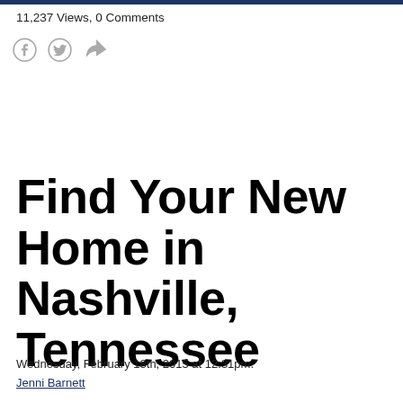11,237 Views, 0 Comments
Find Your New Home in Nashville, Tennessee
Wednesday, February 18th, 2015 at 12:31pm.
Jenni Barnett